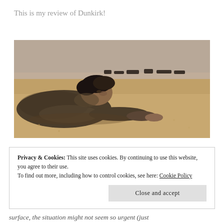This is my review of Dunkirk!
[Figure (photo): A young soldier lying prone on a sandy beach, wearing a military coat, looking forward. Dark moody war film still from Dunkirk.]
Privacy & Cookies: This site uses cookies. By continuing to use this website, you agree to their use.
To find out more, including how to control cookies, see here: Cookie Policy
[Close and accept]
surface, the situation might not seem so urgent (just